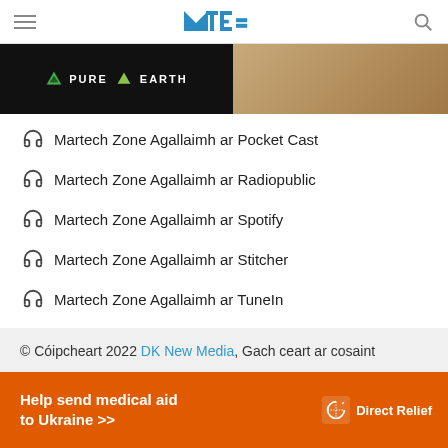MTE (Martech Zone) header with hamburger menu, logo, and search icon
[Figure (photo): Pure Earth advertisement banner — left half black with PURE EARTH text and diamond logo, right half sandy/tan texture]
Martech Zone Agallaimh ar Pocket Cast
Martech Zone Agallaimh ar Radiopublic
Martech Zone Agallaimh ar Spotify
Martech Zone Agallaimh ar Stitcher
Martech Zone Agallaimh ar TuneIn
Martech Zone Agallaimh RSS
© Cóipcheart 2022 DK New Media, Gach ceart ar cosaint
[Figure (photo): Direct Relief ad banner — orange background with text 'Help send medical aid to Ukraine >>' and Direct Relief logo]